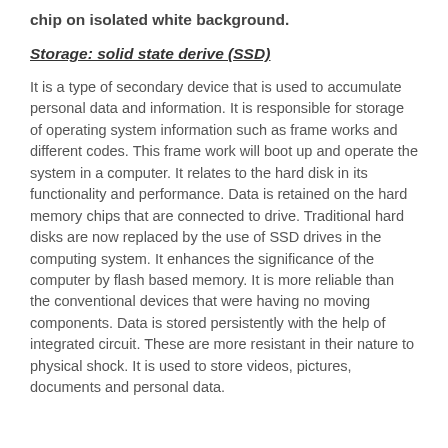chip on isolated white background.
Storage: solid state derive (SSD)
It is a type of secondary device that is used to accumulate personal data and information. It is responsible for storage of operating system information such as frame works and different codes. This frame work will boot up and operate the system in a computer. It relates to the hard disk in its functionality and performance. Data is retained on the hard memory chips that are connected to drive. Traditional hard disks are now replaced by the use of SSD drives in the computing system. It enhances the significance of the computer by flash based memory. It is more reliable than the conventional devices that were having no moving components. Data is stored persistently with the help of integrated circuit. These are more resistant in their nature to physical shock. It is used to store videos, pictures, documents and personal data.